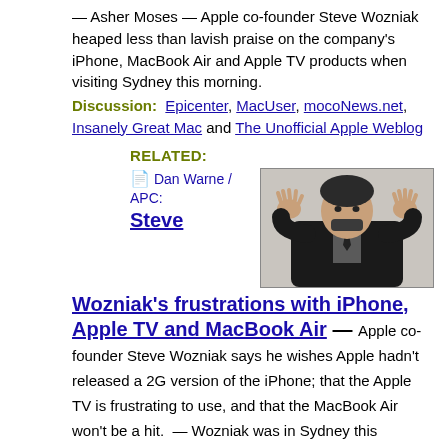— Asher Moses — Apple co-founder Steve Wozniak heaped less than lavish praise on the company's iPhone, MacBook Air and Apple TV products when visiting Sydney this morning.
Discussion: Epicenter, MacUser, mocoNews.net, Insanely Great Mac and The Unofficial Apple Weblog
RELATED:
📄 Dan Warne / APC: Steve
[Figure (photo): Photo of Steve Wozniak in a dark suit with hands raised]
Wozniak's frustrations with iPhone, Apple TV and MacBook Air — Apple co-founder Steve Wozniak says he wishes Apple hadn't released a 2G version of the iPhone; that the Apple TV is frustrating to use, and that the MacBook Air won't be a hit.  — Wozniak was in Sydney this morning …
Discussion: Crave, Engadget, Macsimum News, All News Feed and Electronista...